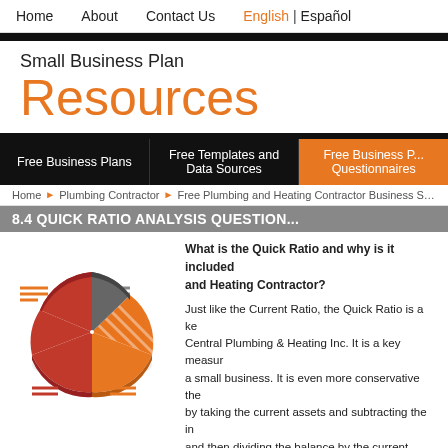Home  About  Contact Us  English | Español
Small Business Plan Resources
Free Business Plans | Free Templates and Data Sources | Free Business Plan Questionnaires
Home > Plumbing Contractor > Free Plumbing and Heating Contractor Business Strat...
8.4 QUICK RATIO ANALYSIS QUESTION
[Figure (pie-chart): A decorative 3D pie chart with orange, red, striped-orange, and gray slices representing financial data segments for Quick Ratio analysis]
What is the Quick Ratio and why is it included and Heating Contractor?

Just like the Current Ratio, the Quick Ratio is a key measure for Central Plumbing & Heating Inc. It is a key measure for a small business. It is even more conservative the by taking the current assets and subtracting the in and then dividing the balance by the current liabilit resulting number shows how many times the leane Plumbing & Heating Inc. will cover the current liabi the higher the Quick Ratio the greater the cushion small business like Central Plumbing & Heating Inc. and the firms ability to pay the